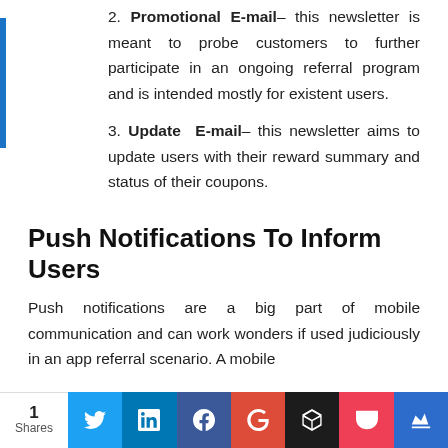Promotional E-mail– this newsletter is meant to probe customers to further participate in an ongoing referral program and is intended mostly for existent users.
Update E-mail– this newsletter aims to update users with their reward summary and status of their coupons.
Push Notifications To Inform Users
Push notifications are a big part of mobile communication and can work wonders if used judiciously in an app referral scenario. A mobile
1 Shares | Twitter | LinkedIn | Facebook | Google+ | Buffer | Pocket | Crown